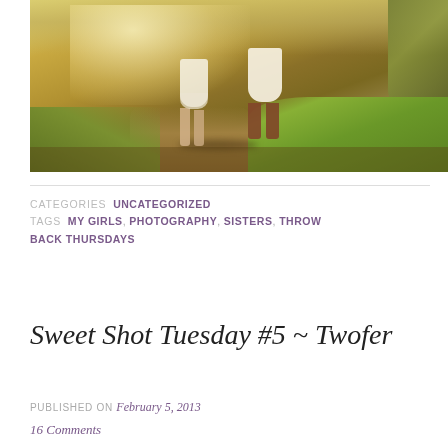[Figure (photo): Two girls/figures from behind in an outdoor field setting with warm golden light. Left figure wearing white/cream dress, right figure wearing white dress with brown cowboy boots. Grassy field with warm sunlit tones.]
CATEGORIES UNCATEGORIZED
TAGS MY GIRLS, PHOTOGRAPHY, SISTERS, THROW BACK THURSDAYS
Sweet Shot Tuesday #5 ~ Twofer
PUBLISHED ON February 5, 2013
16 Comments